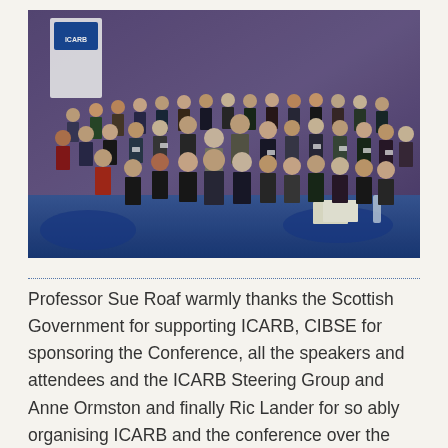[Figure (photo): Group photo of conference attendees at an ICARB event. A large group of approximately 40 people standing in rows in a conference room with blue carpet and an ICARB banner visible in the background.]
Professor Sue Roaf warmly thanks the Scottish Government for supporting ICARB, CIBSE for sponsoring the Conference, all the speakers and attendees and the ICARB Steering Group and Anne Ormston and finally Ric Lander for so ably organising ICARB and the conference over the year.